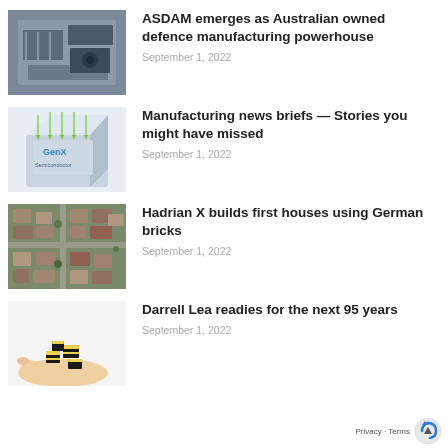[Figure (photo): Industrial machinery or aircraft engine component, grey/blue tones]
ASDAM emerges as Australian owned defence manufacturing powerhouse
September 1, 2022
[Figure (photo): 3D rendering of GenX Semiconductor chip with green arrows]
Manufacturing news briefs — Stories you might have missed
September 1, 2022
[Figure (photo): Aerial view of suburban houses and streets]
Hadrian X builds first houses using German bricks
September 1, 2022
[Figure (photo): Hand holding black and yellow liquorice pieces]
Darrell Lea readies for the next 95 years
September 1, 2022
Privacy · Terms